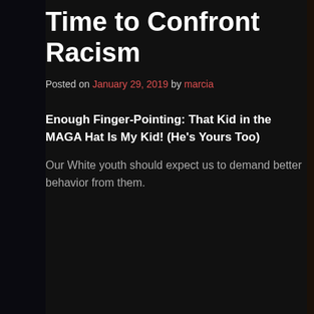Time to Confront Racism
Posted on January 29, 2019 by marcia
Enough Finger-Pointing: That Kid in the MAGA Hat Is My Kid! (He's Yours Too)
Our White youth should expect us to demand better behavior from them.